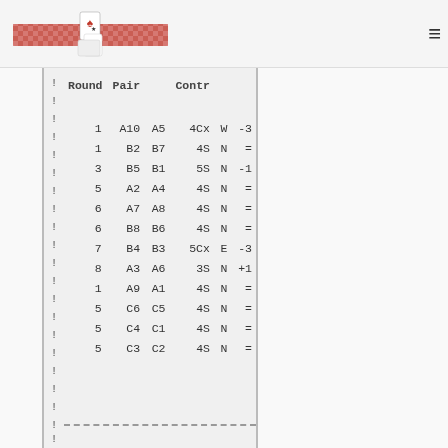Bridge card game scoring interface header with logo and hamburger menu
| ! | Round | Pair |  | Contr |  |  |
| --- | --- | --- | --- | --- | --- | --- |
| ! | 1 | A10 | A5 | 4Cx | W | -3 |
| ! | 1 | B2 | B7 | 4S | N | = |
| ! | 3 | B5 | B1 | 5S | N | -1 |
| ! | 5 | A2 | A4 | 4S | N | = |
| ! | 6 | A7 | A8 | 4S | N | = |
| ! | 6 | B8 | B6 | 4S | N | = |
| ! | 7 | B4 | B3 | 5Cx | E | -3 |
| ! | 8 | A3 | A6 | 3S | N | +1 |
| ! | 1 | A9 | A1 | 4S | N | = |
| ! | 5 | C6 | C5 | 4S | N | = |
| ! | 5 | C4 | C1 | 4S | N | = |
| ! | 5 | C3 | C2 | 4S | N | = |